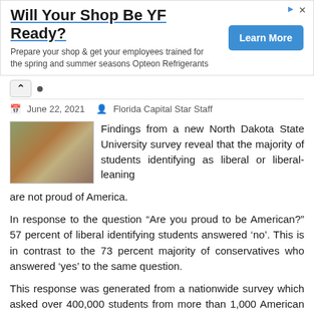[Figure (other): Advertisement banner: 'Will Your Shop Be YF Ready?' with text 'Prepare your shop & get your employees trained for the spring and summer seasons Opteon Refrigerants' and a blue 'Learn More' button]
June 22, 2021   Florida Capital Star Staff
Findings from a new North Dakota State University survey reveal that the majority of students identifying as liberal or liberal-leaning are not proud of America.
In response to the question “Are you proud to be American?” 57 percent of liberal identifying students answered ‘no’. This is in contrast to the 73 percent majority of conservatives who answered ‘yes’ to the same question.
This response was generated from a nationwide survey which asked over 400,000 students from more than 1,000 American college campuses questions about their feelings on a number